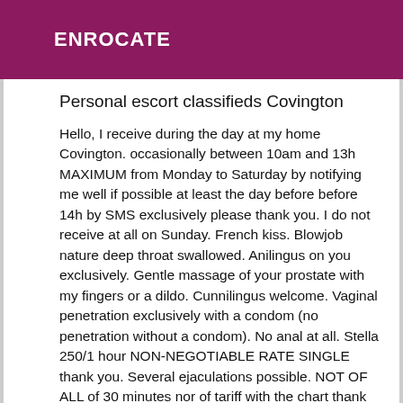ENROCATE
Personal escort classifieds Covington
Hello, I receive during the day at my home Covington. occasionally between 10am and 13h MAXIMUM from Monday to Saturday by notifying me well if possible at least the day before before 14h by SMS exclusively please thank you. I do not receive at all on Sunday. French kiss. Blowjob nature deep throat swallowed. Anilingus on you exclusively. Gentle massage of your prostate with my fingers or a dildo. Cunnilingus welcome. Vaginal penetration exclusively with a condom (no penetration without a condom). No anal at all. Stella 250/1 hour NON-NEGOTIABLE RATE SINGLE thank you. Several ejaculations possible. NOT OF ALL of 30 minutes nor of tariff with the chart thank you. Thank you for contacting me exclusively by simple SMS, indicating your first name and age please; and not i-message that my cell phone does not receive at all.